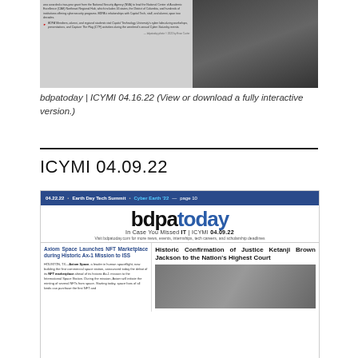[Figure (screenshot): Screenshot of bdpatoday newsletter issue showing text content on left and photo of people in computer lab on right]
bdpatoday | ICYMI 04.16.22 (View or download a fully interactive version.)
ICYMI 04.09.22
[Figure (screenshot): Screenshot of bdpatoday newsletter ICYMI 04.09.22 with blue header bar, large bdpatoday logo, two column layout showing: left column - Axiom Space Launches NFT Marketplace during Historic Ax-1 Mission to ISS; right column - Historic Confirmation of Justice Ketanji Brown Jackson to the Nation's Highest Court]